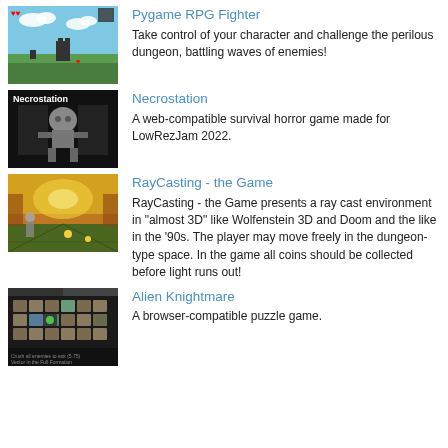[Figure (screenshot): Pygame RPG Fighter game screenshot showing pixel art sky, clouds, green ground, and heart icons]
Pygame RPG Fighter
Take control of your character and challenge the perilous dungeon, battling waves of enemies!
[Figure (screenshot): Necrostation game screenshot showing dark scene with robot character and title text Necrostation]
Necrostation
A web-compatible survival horror game made for LowRezJam 2022.
[Figure (screenshot): RayCasting the Game screenshot showing orange/yellow ray cast 3D-like dungeon environment]
RayCasting - the Game
RayCasting - the Game presents a ray cast environment in "almost 3D" like Wolfenstein 3D and Doom and the like in the '90s. The player may move freely in the dungeon-type space. In the game all coins should be collected before light runs out!
[Figure (screenshot): Alien Knightmare game screenshot showing top-down grid puzzle game with stone tiles and alien characters]
Alien Knightmare
A browser-compatible puzzle game.